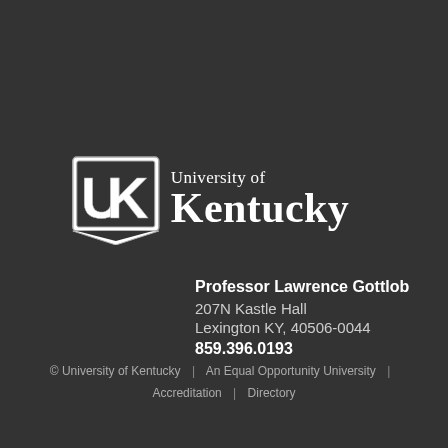[Figure (logo): University of Kentucky logo with UK monogram shield and text 'University of Kentucky']
Professor Lawrence Gottlob
207N Kastle Hall
Lexington KY, 40506-0044
859.396.0193
© University of Kentucky | An Equal Opportunity University | Accreditation | Directory